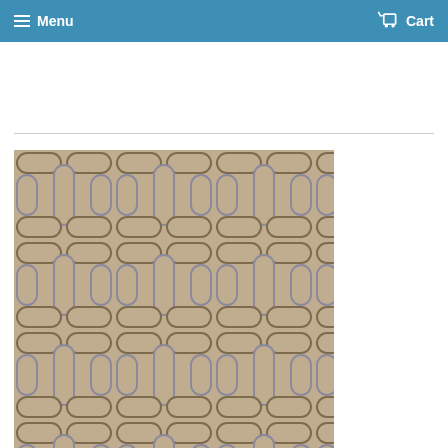Menu   Cart
[Figure (photo): Close-up photograph of a geometric chain-link patterned fabric in beige, taupe/brown, and grey-blue colors. The pattern features interlocking rounded rectangular links arranged in a repeating grid pattern on a woven textile background.]